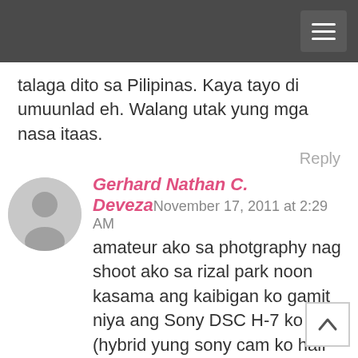talaga dito sa Pilipinas. Kaya tayo di umuunlad eh. Walang utak yung mga nasa itaas.
Reply
[Figure (illustration): Generic user avatar circle with person silhouette in gray]
Gerhard Nathan C. Deveza November 17, 2011 at 2:29 AM amateur ako sa photgraphy nag shoot ako sa rizal park noon kasama ang kaibigan ko gamit niya ang Sony DSC H-7 ko (hybrid yung sony cam ko half P&S half SLR-ish)at gamit ko naman ang Canon 1000D ndi na kami nag dala ng tripod kasi hassle lang ito.. pero hind ko alam na bawal pala mag shoot sa rizal park